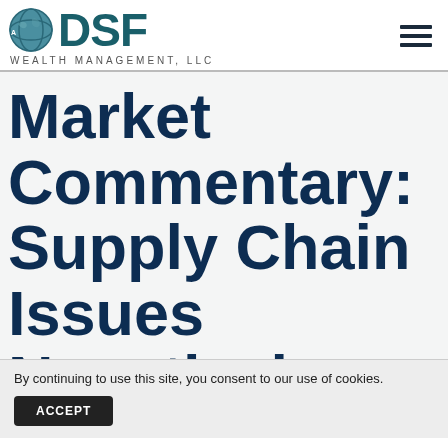DSF WEALTH MANAGEMENT, LLC
Market Commentary: Supply Chain Issues Negatively
By continuing to use this site, you consent to our use of cookies.
ACCEPT